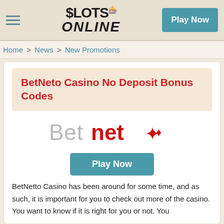$SLOTS ONLINE | Play Now
Home > News > New Promotions
BetNeto Casino No Deposit Bonus Codes
[Figure (logo): BetNeto casino logo — 'Bet' in grey, 'net' in bold red, followed by a red diamond/cross card suit icon]
Play Now
BetNetto Casino has been around for some time, and as such, it is important for you to check out more of the casino. You want to know if it is right for you or not. You